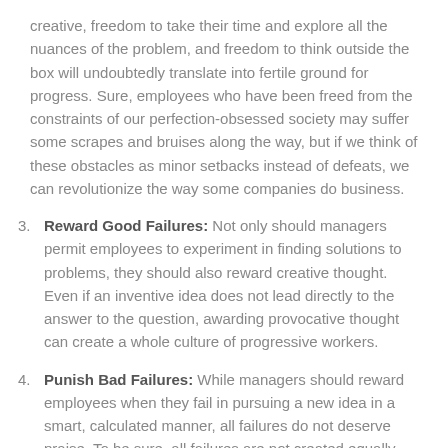creative, freedom to take their time and explore all the nuances of the problem, and freedom to think outside the box will undoubtedly translate into fertile ground for progress. Sure, employees who have been freed from the constraints of our perfection-obsessed society may suffer some scrapes and bruises along the way, but if we think of these obstacles as minor setbacks instead of defeats, we can revolutionize the way some companies do business.
3. Reward Good Failures: Not only should managers permit employees to experiment in finding solutions to problems, they should also reward creative thought. Even if an inventive idea does not lead directly to the answer to the question, awarding provocative thought can create a whole culture of progressive workers.
4. Punish Bad Failures: While managers should reward employees when they fail in pursuing a new idea in a smart, calculated manner, all failures do not deserve praise. To be sure, all failures are not created equally. Failures that result from a lack of proper planning are unacceptable. Failures that involve an abuse of